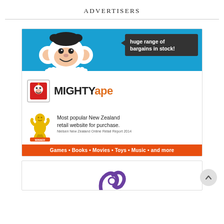ADVERTISERS
[Figure (illustration): Mighty Ape advertisement banner. Blue top section with cartoon monkey and speech bubble saying 'huge range of bargains in stock!'. White middle with Mighty Ape logo (MIGHTY in black, ape in orange), and a gold award winner figure with text 'Most popular New Zealand retail website for purchase. Nielsen New Zealand Online Retail Report 2014'. Orange bottom bar with 'Games • Books • Movies • Toys • Music • and more'.]
[Figure (logo): Partial view of a second advertiser logo — purple/dark circular icon partially visible at bottom of page.]